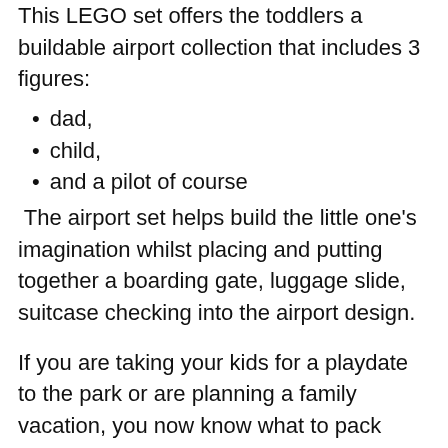This LEGO set offers the toddlers a buildable airport collection that includes 3 figures:
dad,
child,
and a pilot of course
The airport set helps build the little one's imagination whilst placing and putting together a boarding gate, luggage slide, suitcase checking into the airport design.
If you are taking your kids for a playdate to the park or are planning a family vacation, you now know what to pack along!